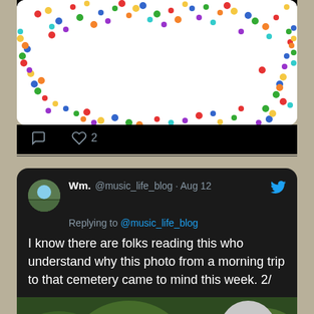[Figure (photo): Colorful sprinkles/confetti on white background with large white number 9 in center]
♡ 2
[Figure (photo): Twitter profile photo - outdoor scene with trees]
Wm. @music_life_blog · Aug 12
Replying to @music_life_blog
I know there are folks reading this who understand why this photo from a morning trip to that cemetery came to mind this week. 2/
[Figure (photo): Photo of a gravestone in a cemetery surrounded by green bushes. The gravestone reads: MAX BORN 11.12.1882 - 5.1.1970 PB=Np=phi HEDWIG BORN GEB. EHRENBERG 04.12.1891 - 29.1.1972]